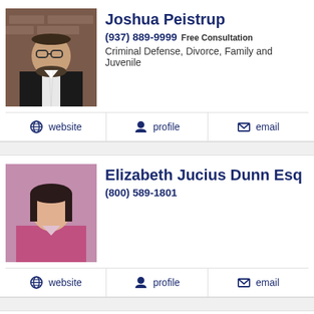[Figure (photo): Headshot of Joshua Peistrup, man in suit with glasses]
Joshua Peistrup
(937) 889-9999 Free Consultation
Criminal Defense, Divorce, Family and Juvenile
website   profile   email
[Figure (photo): Headshot of Elizabeth Jucius Dunn Esq, woman in pink top]
Elizabeth Jucius Dunn Esq
(800) 589-1801
website   profile   email
[Figure (photo): Headshot of Todd Evan Bryant, man in suit]
Todd Evan Bryant
(937) 581-3792 Free Consultation
Business, Construction and Consumer
website   profile   email